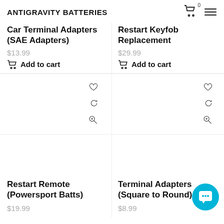ANTIGRAVITY BATTERIES
Car Terminal Adapters (SAE Adapters)
$13.99
Add to cart
Restart Keyfob Replacement
$29.99
Add to cart
[Figure (infographic): Wishlist heart icon, refresh/compare icon, zoom-in magnifier icon for product in left column]
[Figure (infographic): Wishlist heart icon, refresh/compare icon, zoom-in magnifier icon for product in right column]
Restart Remote (Powersport Batts)
$19.99
Terminal Adapters (Square to Round)
$8.99